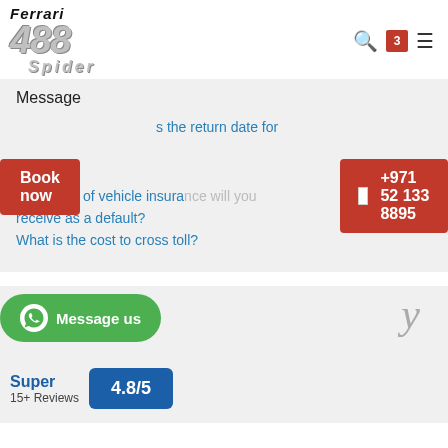Ferrari 488 Spider — navigation header with search, badge (3), and menu icons
Message
Book now
the return date for
+971 52 133 8895
What type of vehicle insurance will you receive as a default?
What is the cost to cross toll?
[Figure (logo): WhatsApp Message us button]
Message us
Super
15+ Reviews
4.8/5